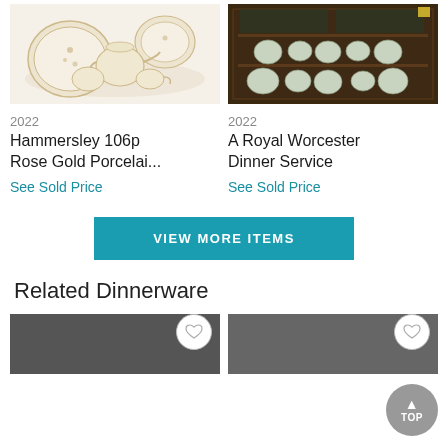[Figure (photo): Hammersley 106p Rose Gold Porcelain dinnerware set displayed on white background]
[Figure (photo): A Royal Worcester Dinner Service displayed in a dark wood cabinet]
2022
Hammersley 106p Rose Gold Porcelai...
See Sold Price
2022
A Royal Worcester Dinner Service
See Sold Price
VIEW MORE ITEMS
Related Dinnerware
[Figure (photo): Related dinnerware item thumbnail (partially visible)]
[Figure (photo): Related dinnerware item thumbnail (partially visible)]